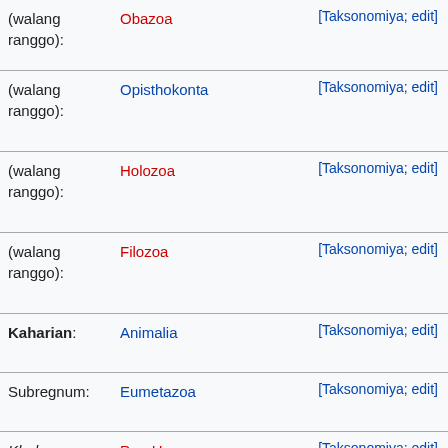| Ranggo | Pangalan | Mga link |
| --- | --- | --- |
| (walang ranggo): | Obazoa | [Taksonomiya; edit] |
| (walang ranggo): | Opisthokonta | [Taksonomiya; edit] |
| (walang ranggo): | Holozoa | [Taksonomiya; edit] |
| (walang ranggo): | Filozoa | [Taksonomiya; edit] |
| Kaharian: | Animalia | [Taksonomiya; edit] |
| Subregnum: | Eumetazoa | [Taksonomiya; edit] |
| Klado: | ParaHoxozoa | [Taksonomiya; edit] |
| Klado: | Bilateria | [Taksonomiya; edit] |
| Klado: | Nephrozoa | [Taksonomiya; edit] |